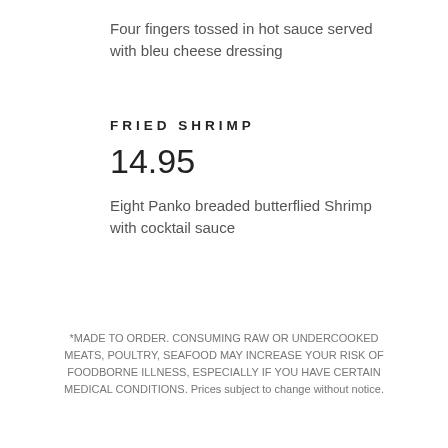Four fingers tossed in hot sauce served with bleu cheese dressing
FRIED SHRIMP
14.95
Eight Panko breaded butterflied Shrimp with cocktail sauce
*MADE TO ORDER. CONSUMING RAW OR UNDERCOOKED MEATS, POULTRY, SEAFOOD MAY INCREASE YOUR RISK OF FOODBORNE ILLNESS, ESPECIALLY IF YOU HAVE CERTAIN MEDICAL CONDITIONS. Prices subject to change without notice.